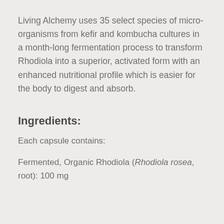Living Alchemy uses 35 select species of micro-organisms from kefir and kombucha cultures in a month-long fermentation process to transform Rhodiola into a superior, activated form with an enhanced nutritional profile which is easier for the body to digest and absorb.
Ingredients:
Each capsule contains:
Fermented, Organic Rhodiola (Rhodiola rosea, root): 100 mg